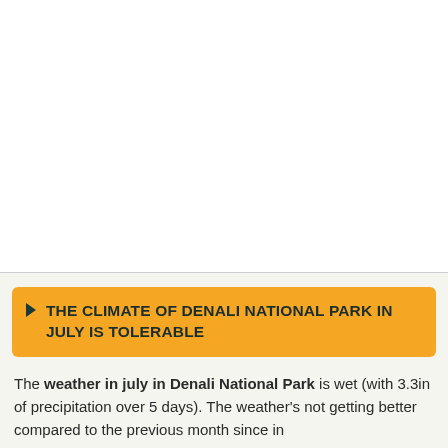[Figure (other): White blank area at top of page, likely an image placeholder or cropped image area]
THE CLIMATE OF DENALI NATIONAL PARK IN JULY IS TOLERABLE
The weather in july in Denali National Park is wet (with 3.3in of precipitation over 5 days). The weather's not getting better compared to the previous month since in